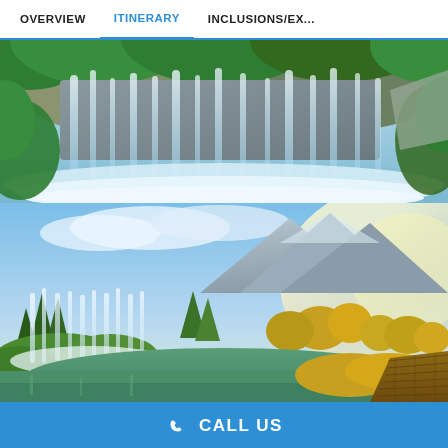OVERVIEW | ITINERARY | INCLUSIONS/EX...
[Figure (photo): Waterfall cascading through lush green forest with blue-tinted mist and flowing white water over rocks]
[Figure (photo): Scenic waterfall landscape with tall rocky cliffs, autumn yellow-green foliage, a wooden boardwalk path alongside a calm turquoise lake reflecting the waterfalls]
CALL US